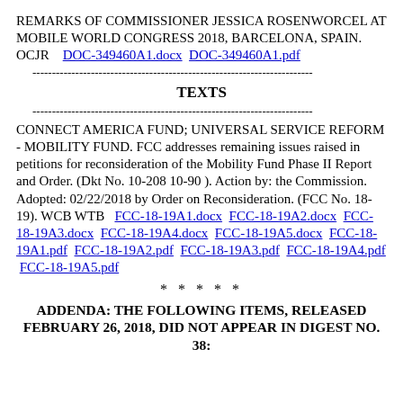REMARKS OF COMMISSIONER JESSICA ROSENWORCEL AT MOBILE WORLD CONGRESS 2018, BARCELONA, SPAIN. OCJR   DOC-349460A1.docx   DOC-349460A1.pdf
------------------------------------------------------------------------
TEXTS
------------------------------------------------------------------------
CONNECT AMERICA FUND; UNIVERSAL SERVICE REFORM - MOBILITY FUND. FCC addresses remaining issues raised in petitions for reconsideration of the Mobility Fund Phase II Report and Order. (Dkt No. 10-208 10-90 ). Action by: the Commission. Adopted: 02/22/2018 by Order on Reconsideration. (FCC No. 18-19). WCB WTB   FCC-18-19A1.docx  FCC-18-19A2.docx  FCC-18-19A3.docx  FCC-18-19A4.docx  FCC-18-19A5.docx  FCC-18-19A1.pdf  FCC-18-19A2.pdf  FCC-18-19A3.pdf  FCC-18-19A4.pdf  FCC-18-19A5.pdf
* * * * *
ADDENDA: THE FOLLOWING ITEMS, RELEASED FEBRUARY 26, 2018, DID NOT APPEAR IN DIGEST NO. 38: